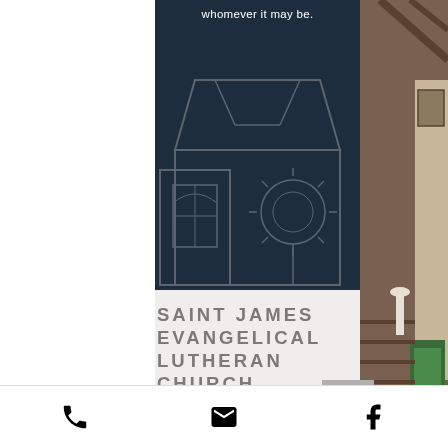whomever it may be.
[Figure (photo): Church exterior with dark blue overlay showing roofline, stained glass windows, and a circular sun/cross symbol]
[Figure (photo): Church interior photo strip on right side showing wooden pews, ceiling beams, and interior fixtures]
SAINT JAMES EVANGELICAL LUTHERAN CHURCH
410 - 668 - 0158
saintjamesbaltimore@gmail.com